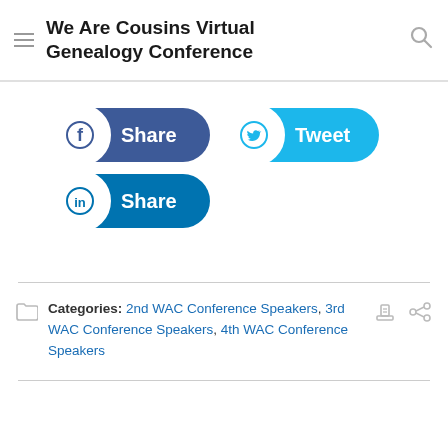We Are Cousins Virtual Genealogy Conference
[Figure (other): Facebook Share button, Twitter Tweet button, LinkedIn Share button - social sharing buttons]
Categories: 2nd WAC Conference Speakers, 3rd WAC Conference Speakers, 4th WAC Conference Speakers